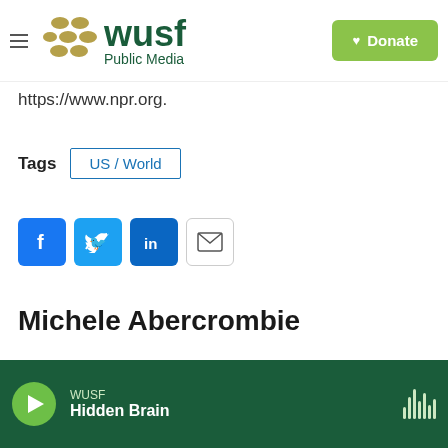WUSF Public Media — Donate
https://www.npr.org.
Tags  US / World
[Figure (other): Social sharing buttons: Facebook (f), Twitter (bird), LinkedIn (in), Email (envelope)]
Michele Abercrombie
WUSF  Hidden Brain